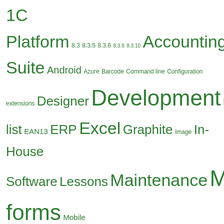[Figure (infographic): Tag cloud with green-colored tags of varying sizes including: 1C Platform, 8.3, 8.3.5, 8.3.6, 8.3.8, 8.3.10, Accounting Suite, Android, Azure, Barcode, Command line, Configuration extensions, Designer, Development, DSC, Dynamic list, EAN13, ERP, Excel, Graphite, Image, In-House Software, Lessons, Maintenance, Managed forms, Mobile application, MSSQL, MustHave, MustRead, Partners, Password, performance, Price, Project management, Protection, Query, Query builder, sales, Small business, SQL, story, tabs, Twitter, ValueStorage, ValueTable]
SOCIAL NETWORKS
RECENT POSTS